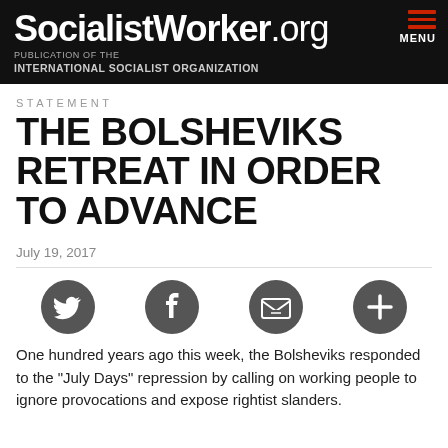SocialistWorker.org — PUBLICATION OF THE INTERNATIONAL SOCIALIST ORGANIZATION
STATEMENT
THE BOLSHEVIKS RETREAT IN ORDER TO ADVANCE
July 19, 2017
[Figure (infographic): Four circular social sharing icons: Twitter, Facebook, Email/envelope, and Add/plus]
One hundred years ago this week, the Bolsheviks responded to the "July Days" repression by calling on working people to ignore provocations and expose rightist slanders.